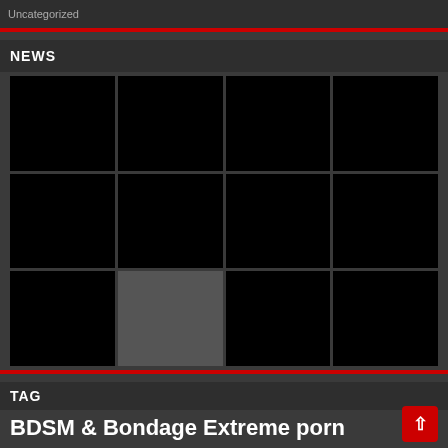Uncategorized
NEWS
[Figure (other): 3x4 grid of thumbnail image placeholders, mostly black with one gray cell]
TAG
BDSM & Bondage Extreme porn Fetish HENTAI Incest Scat & Urine